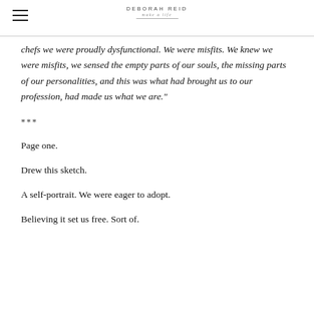DEBORAH REID
chefs we were proudly dysfunctional. We were misfits. We knew we were misfits, we sensed the empty parts of our souls, the missing parts of our personalities, and this was what had brought us to our profession, had made us what we are."
***
Page one.
Drew this sketch.
A self-portrait. We were eager to adopt.
Believing it set us free. Sort of.